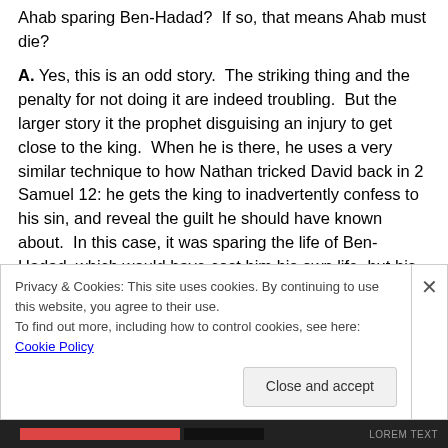Ahab sparing Ben-Hadad?  If so, that means Ahab must die?
A. Yes, this is an odd story.  The striking thing and the penalty for not doing it are indeed troubling.  But the larger story it the prophet disguising an injury to get close to the king.  When he is there, he uses a very similar technique to how Nathan tricked David back in 2 Samuel 12: he gets the king to inadvertently confess to his sin, and reveal the guilt he should have known about.  In this case, it was sparing the life of Ben-Hadad, which would have cost him his own life, but his later humility and repentance spares
Privacy & Cookies: This site uses cookies. By continuing to use this website, you agree to their use.
To find out more, including how to control cookies, see here: Cookie Policy
Close and accept